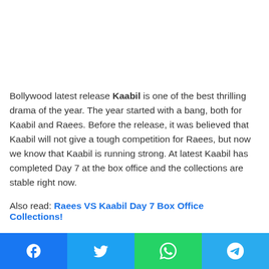Bollywood latest release Kaabil is one of the best thrilling drama of the year. The year started with a bang, both for Kaabil and Raees. Before the release, it was believed that Kaabil will not give a tough competition for Raees, but now we know that Kaabil is running strong. At latest Kaabil has completed Day 7 at the box office and the collections are stable right now.
Also read: Raees VS Kaabil Day 7 Box Office Collections!
[Figure (other): Social media sharing bar with Facebook, Twitter, WhatsApp, and Telegram buttons]